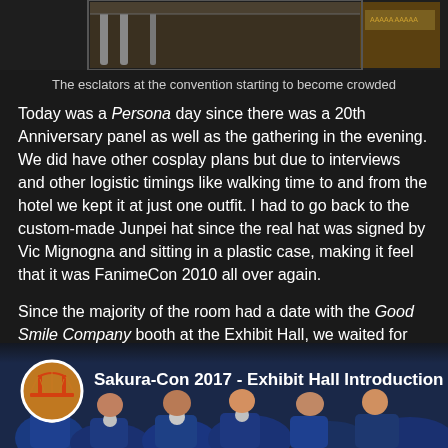[Figure (photo): Partial photo of escalators at a convention, cropped at top of page]
The esclators at the convention starting to become crowded
Today was a Persona day since there was a 20th Anniversary panel as well as the gathering in the evening. We did have other cosplay plans but due to interviews and other logistic timings like walking time to and from the hotel we kept it at just one outfit. I had to go back to the custom-made Junpei hat since the real hat was signed by Vic Mignogna and sitting in a plastic case, making it feel that it was FanimeCon 2010 all over again.
Since the majority of the room had a date with the Good Smile Company booth at the Exhibit Hall, we waited for the hall to open up. And unlike AX, we didn't get trampled and there wasn't that much of a mad rush...unless you were going to the GSC booth.
[Figure (screenshot): YouTube video thumbnail for 'Sakura-Con 2017 - Exhibit Hall Introduction' showing crowd of people in blue shirts with a circular logo icon on the left]